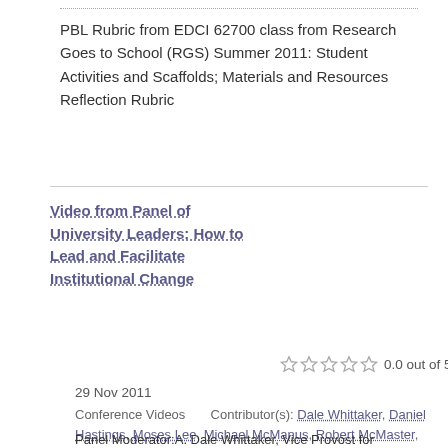PBL Rubric from EDCI 62700 class from Research Goes to School (RGS) Summer 2011: Student Activities and Scaffolds; Materials and Resources Reflection Rubric
Video from Panel of University Leaders: How to Lead and Facilitate Institutional Change
0.0 out of 5 stars
29 Nov 2011
Conference Videos   Contributor(s): Dale Whittaker, Daniel Hastings, Moses Lee, Michael McManus, Robert McMaster, John Squires
Panel Moderator:A. Dale Whittaker, Vice Provost for Undergraduate Academic Affairs, Purdue